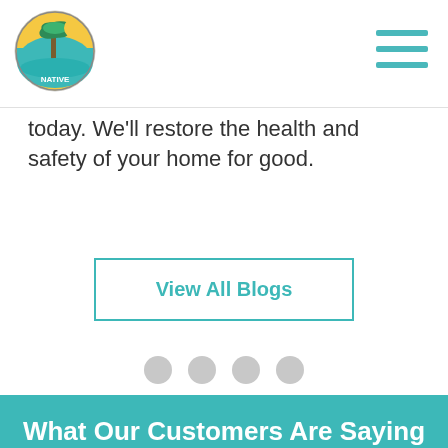[Figure (logo): Native company circular logo with palm tree and beach scene]
[Figure (other): Hamburger menu icon with three teal horizontal lines]
today. We'll restore the health and safety of your home for good.
View All Blogs
[Figure (other): Four gray pagination dots]
What Our Customers Are Saying